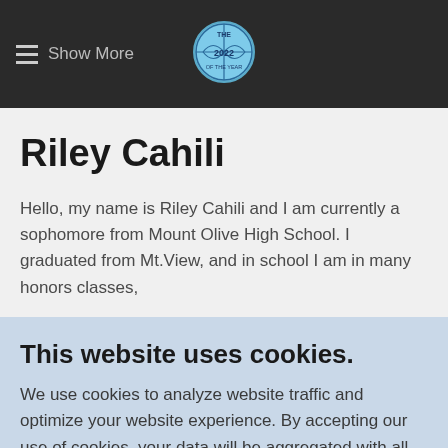≡ Show More
Riley Cahili
Hello, my name is Riley Cahili and I am currently a sophomore from Mount Olive High School. I graduated from Mt.View, and in school I am in many honors classes,
This website uses cookies.
We use cookies to analyze website traffic and optimize your website experience. By accepting our use of cookies, your data will be aggregated with all other user data.
ACCEPT